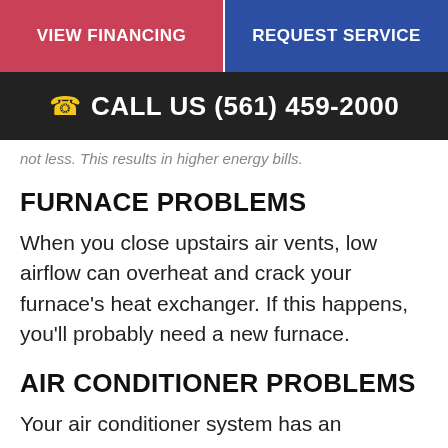VIEW FINANCING | REQUEST SERVICE
CALL US (561) 459-2000
not less. This results in higher energy bills.
FURNACE PROBLEMS
When you close upstairs air vents, low airflow can overheat and crack your furnace's heat exchanger. If this happens, you'll probably need a new furnace.
AIR CONDITIONER PROBLEMS
Your air conditioner system has an